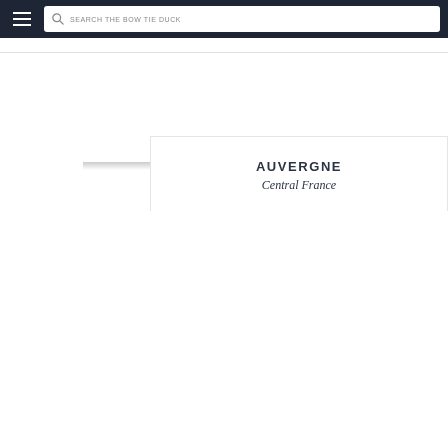SEARCH THE BOW TIE DUCK
AUVERGNE
Central France